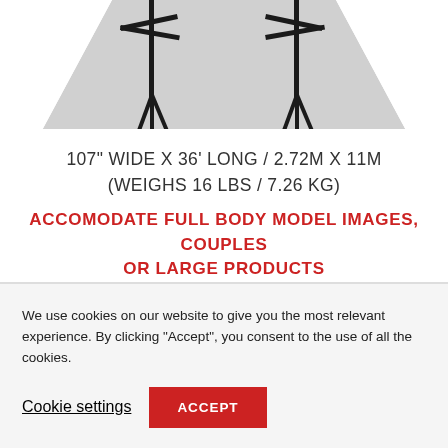[Figure (photo): Partial view of a photography studio backdrop setup: a large light grey seamless paper backdrop hanging from two light stands with crossbars visible at top-left and top-right. The backdrop sweeps down and forward across the floor.]
107" WIDE X 36' LONG / 2.72M X 11M
(WEIGHS 16 LBS / 7.26 KG)
ACCOMODATE FULL BODY MODEL IMAGES, COUPLES OR LARGE PRODUCTS
We use cookies on our website to give you the most relevant experience. By clicking “Accept”, you consent to the use of all the cookies.
Cookie settings
ACCEPT